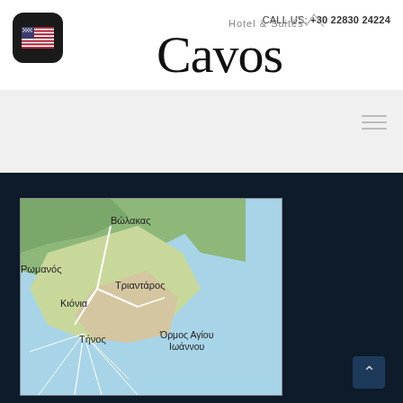CALL US: +30 22830 24224
Hotel & Suites Cavos
[Figure (map): Google Maps view showing Tinos island area in Greece with Greek place names: Βώλακας, Ρωμανός, Τριαντάρος, Κιόνια, Τήνος, Όρμος Αγίου Ιωάννου]
^